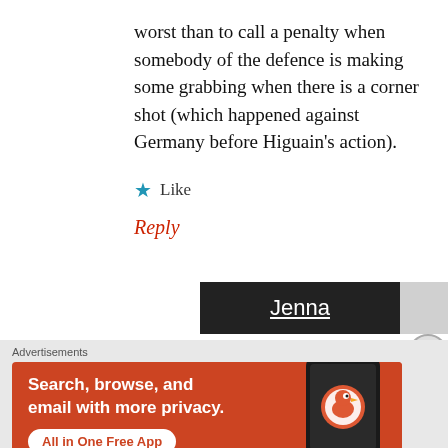worst than to call a penalty when somebody of the defence is making some grabbing when there is a corner shot (which happened against Germany before Higuain's action).
★ Like
Reply
Jenna
[Figure (infographic): DuckDuckGo advertisement banner: orange background with text 'Search, browse, and email with more privacy. All in One Free App' and DuckDuckGo logo on a phone mockup.]
Advertisements